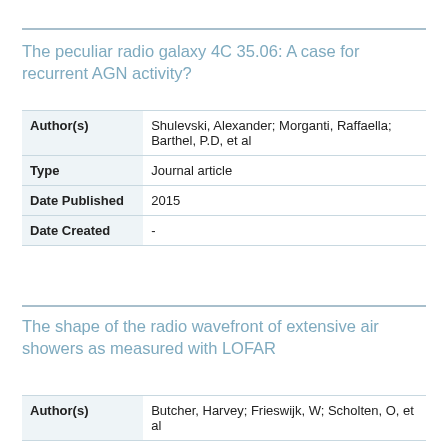The peculiar radio galaxy 4C 35.06: A case for recurrent AGN activity?
|  |  |
| --- | --- |
| Author(s) | Shulevski, Alexander; Morganti, Raffaella; Barthel, P.D, et al |
| Type | Journal article |
| Date Published | 2015 |
| Date Created | - |
The shape of the radio wavefront of extensive air showers as measured with LOFAR
|  |  |
| --- | --- |
| Author(s) | Butcher, Harvey; Frieswijk, W; Scholten, O, et al |